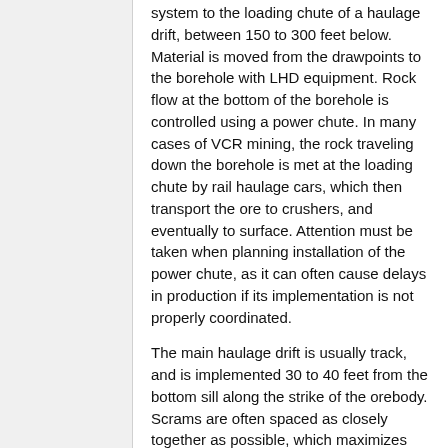system to the loading chute of a haulage drift, between 150 to 300 feet below. Material is moved from the drawpoints to the borehole with LHD equipment. Rock flow at the bottom of the borehole is controlled using a power chute. In many cases of VCR mining, the rock traveling down the borehole is met at the loading chute by rail haulage cars, which then transport the ore to crushers, and eventually to surface. Attention must be taken when planning installation of the power chute, as it can often cause delays in production if its implementation is not properly coordinated.
The main haulage drift is usually track, and is implemented 30 to 40 feet from the bottom sill along the strike of the orebody. Scrams are often spaced as closely together as possible, which maximizes extraction because remote mucking is most often not feasible.
Production Drilling
Drilling is done from the top sill all the way down to the bottom sill. The cross-sectional dimensions of the top sill must be 11ft (3.4m)